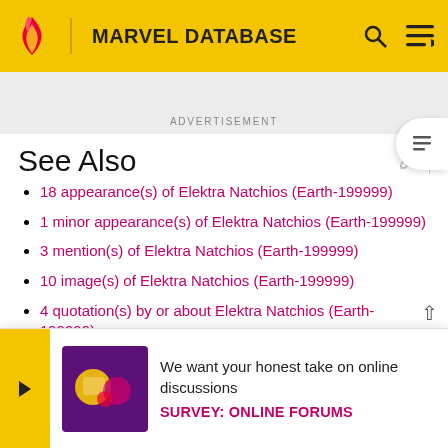MARVEL DATABASE
ADVERTISEMENT
See Also
18 appearance(s) of Elektra Natchios (Earth-199999)
1 minor appearance(s) of Elektra Natchios (Earth-199999)
3 mention(s) of Elektra Natchios (Earth-199999)
10 image(s) of Elektra Natchios (Earth-199999)
4 quotation(s) by or about Elektra Natchios (Earth-199999)
1 ...
Links
We want your honest take on online discussions
SURVEY: ONLINE FORUMS